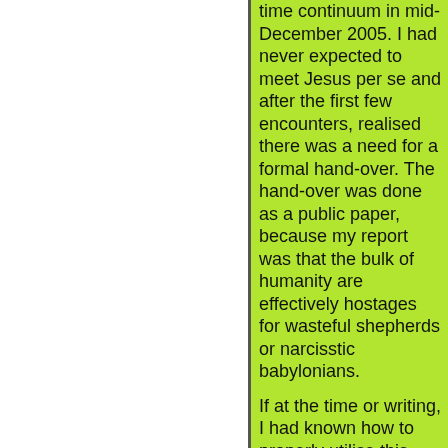time continuum in mid-December 2005. I had never expected to meet Jesus per se and after the first few encounters, realised there was a need for a formal hand-over. The hand-over was done as a public paper, because my report was that the bulk of humanity are effectively hostages for wasteful shepherds or narcisstic babylonians.
If at the time or writing, I had known how to properly utilise this